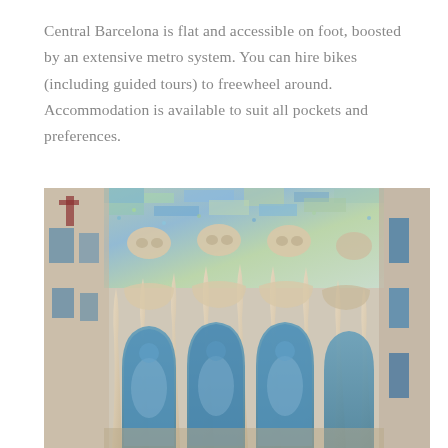Central Barcelona is flat and accessible on foot, boosted by an extensive metro system. You can hire bikes (including guided tours) to freewheel around. Accommodation is available to suit all pockets and preferences.
[Figure (photo): Close-up architectural photograph of Casa Batlló in Barcelona, designed by Antoni Gaudí. The image shows the ornate facade with undulating bone-like stone columns, colorful mosaic tiles in blues and greens, and large stained glass windows with blue tones on the lower floors.]